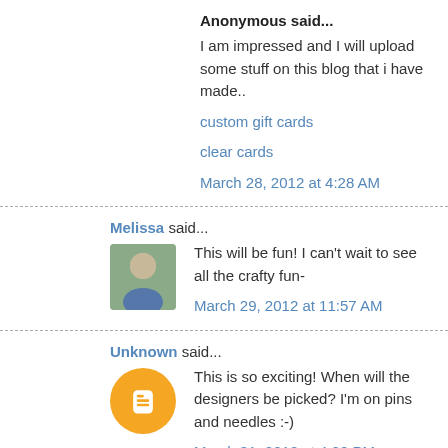Anonymous said...
I am impressed and I will upload some stuff on this blog that i have made..
custom gift cards
clear cards
March 28, 2012 at 4:28 AM
Melissa said...
This will be fun! I can't wait to see all the crafty fun-
March 29, 2012 at 11:57 AM
Unknown said...
This is so exciting! When will the designers be picked? I'm on pins and needles :-)
March 31, 2012 at 4:20 PM